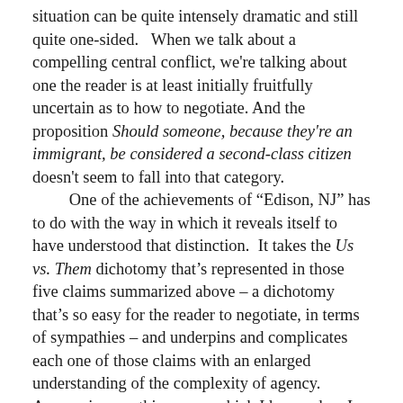situation can be quite intensely dramatic and still quite one-sided.   When we talk about a compelling central conflict, we're talking about one the reader is at least initially fruitfully uncertain as to how to negotiate. And the proposition Should someone, because they're an immigrant, be considered a second-class citizen doesn't seem to fall into that category.
      One of the achievements of “Edison, NJ” has to do with the way in which it reveals itself to have understood that distinction.  It takes the Us vs. Them dichotomy that’s represented in those five claims summarized above – a dichotomy that’s so easy for the reader to negotiate, in terms of sympathies – and underpins and complicates each one of those claims with an enlarged understanding of the complexity of agency.   Agency is something upon which I harp, when I teach, and agency has to do with the extent to which we act, and are responsible for the particular way in which events unfold, as opposed to the ways in which